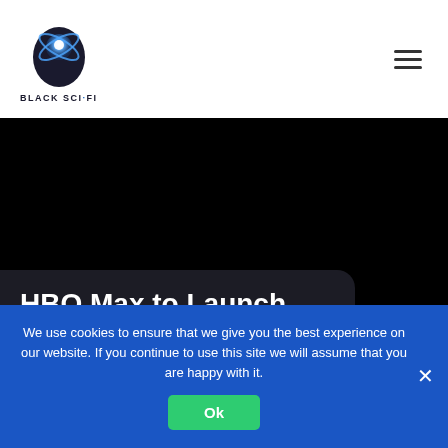[Figure (logo): Black Sci-Fi website logo: stylized head silhouette with blue glowing orb and crossing rings, with text 'BLACK SCI-FI' below]
[Figure (other): Dark/black hero image background section]
HBO Max to Launch
We use cookies to ensure that we give you the best experience on our website. If you continue to use this site we will assume that you are happy with it.